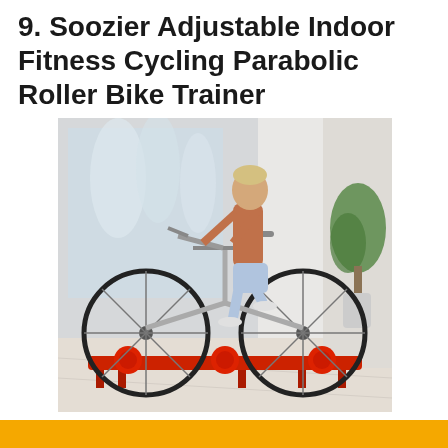9. Soozier Adjustable Indoor Fitness Cycling Parabolic Roller Bike Trainer
[Figure (photo): A man riding a bicycle mounted on a red Soozier parabolic roller bike trainer indoors. The person is wearing a rust/orange t-shirt and white shorts. The background shows a bright room with a large window showing a winter scene and a green plant.]